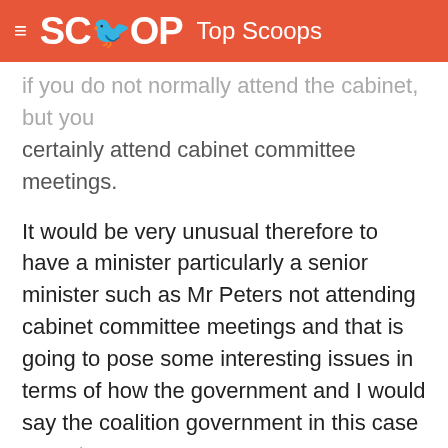SCOOP Top Scoops
if you do not normally attend the cabinet, but you certainly attend cabinet committee meetings.
It would be very unusual therefore to have a minister particularly a senior minister such as Mr Peters not attending cabinet committee meetings and that is going to pose some interesting issues in terms of how the government and I would say the coalition government in this case operates.
Other questions of course will be is Mr Peters going to be paid for ministerial services or from parliamentary services, is he going to sit in parliament or as part of the executive. Is he going to have his ministerial